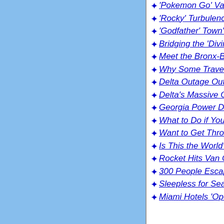'Pokemon Go' Vacation
'Rocky' Turbulence on JetBlue Flight Sends 24 to Hospital
'Godfather' Town's Government Axed Over Mafia Ties
Bridging the 'Divine and the Earth' at Yosemite
Meet the Bronx-Born Ranger Inspiring Young Parkgoers
Why Some Travelers Should Reject Delta's $200 Apology
Delta Outage Outrage: More Than 1,500 Flights Canceled
Delta's Massive Outage Strands Thousands Worldwide
Georgia Power Disputes 'Outage' Behind Delta Failure
What to Do if You're Flying Delta This Week
Want to Get Through the Airport Faster? Try the DMV
Is This the World's Worst Airline? It's Definitely Quirky
Rocket Hits Van Carrying U.S. Tourists in Afghanistan
300 People Escape Burning Jet After Crash Landing
Sleepless for Sea Turtles: Scientist's Devotion Pays Off
Miami Hotels 'Open for Business' as Zika Cases Rise